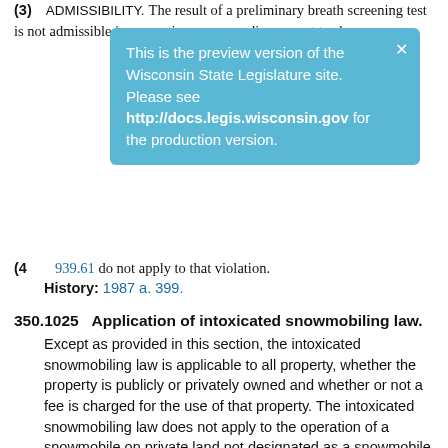(3) Admissibility. The result of a preliminary breath screening test is not admissible in any action or proceeding except to show
This is the preview version of the Wisconsin State Legislature site. Please see http://docs.legis.wisconsin.gov for the production version.
(4) 939.61 do not apply to that violation.
History: 1987 a. 399.
350.1025 Application of intoxicated snowmobiling law.
Except as provided in this section, the intoxicated snowmobiling law is applicable to all property, whether the property is publicly or privately owned and whether or not a fee is charged for the use of that property. The intoxicated snowmobiling law does not apply to the operation of a snowmobile on private land not designated as a snowmobile trail unless an accident involving personal injury occurs as the result of the operation of a snowmobile and the snowmobile was operated on the private land without the consent of the owner of that land.
History: 1987 a. 399; 1991 a. 91.
350.103 Implied consent.
Any person who engages in the operation of a snowmobile upon the public highways of this state, or in those areas enumerated in s. 350.1025, is deemed have given consent to provide one or more samples of his or